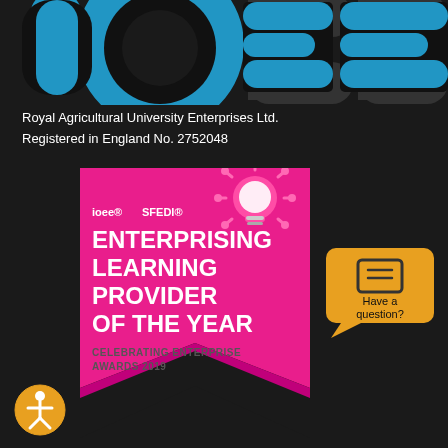[Figure (logo): Partial IOEE logo letters in blue and black, large stylized letters at top of dark background]
Royal Agricultural University Enterprises Ltd.
Registered in England No. 2752048
[Figure (infographic): Pink ribbon/banner award badge with lightbulb icon, IOEE and SFEDI logos, text: ENTERPRISING LEARNING PROVIDER OF THE YEAR, CELEBRATING ENTERPRISE AWARDS 2019]
[Figure (infographic): Golden yellow speech bubble with message icon and text: Have a question?]
[Figure (infographic): Yellow circle accessibility icon with person symbol]